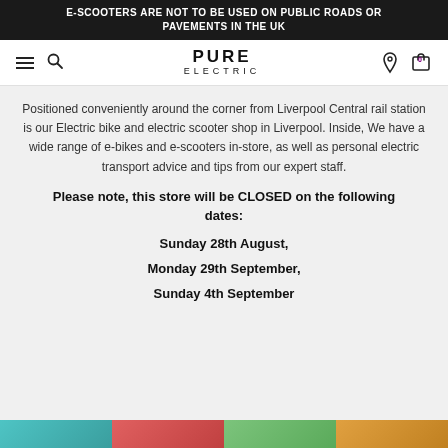E-SCOOTERS ARE NOT TO BE USED ON PUBLIC ROADS OR PAVEMENTS IN THE UK
[Figure (logo): Pure Electric logo with hamburger menu, search icon, location pin, and cart badge showing 0]
Positioned conveniently around the corner from Liverpool Central rail station is our Electric bike and electric scooter shop in Liverpool. Inside, We have a wide range of e-bikes and e-scooters in-store, as well as personal electric transport advice and tips from our expert staff.
Please note, this store will be CLOSED on the following dates:
Sunday 28th August,
Monday 29th September,
Sunday 4th September